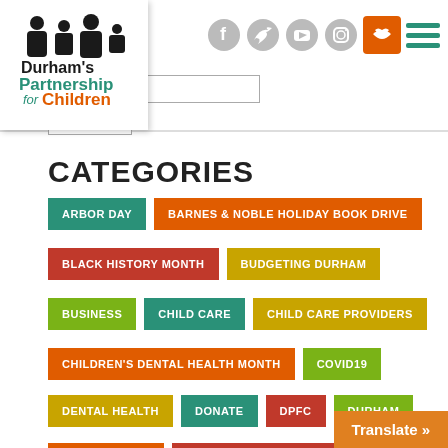[Figure (logo): Durham's Partnership for Children logo with silhouettes of children and adults]
[Figure (infographic): Social media icons: Facebook, Twitter, YouTube, Instagram, donation icon, menu icon]
CATEGORIES
ARBOR DAY
BARNES & NOBLE HOLIDAY BOOK DRIVE
BLACK HISTORY MONTH
BUDGETING DURHAM
BUSINESS
CHILD CARE
CHILD CARE PROVIDERS
CHILDREN'S DENTAL HEALTH MONTH
COVID19
DENTAL HEALTH
DONATE
DPFC
DURHAM
DURHAM PREK
DURHAM PUBLIC SCHOOLS
Translate »